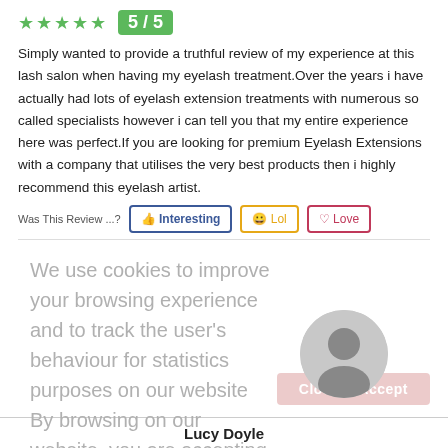[Figure (other): Five green star rating icons followed by a green badge showing 5/5]
Simply wanted to provide a truthful review of my experience at this lash salon when having my eyelash treatment.Over the years i have actually had lots of eyelash extension treatments with numerous so called specialists however i can tell you that my entire experience here was perfect.If you are looking for premium Eyelash Extensions with a company that utilises the very best products then i highly recommend this eyelash artist.
Was This Review ...?
Interesting  Lol  Love
We use cookies to improve your browsing experience and to track the user's behaviour for statistics purposes on our website By browsing on our website, you are accepting the usage of cookies. Learn more
Close & Accept
[Figure (illustration): Gray avatar/user profile circle icon]
Lucy Doyle